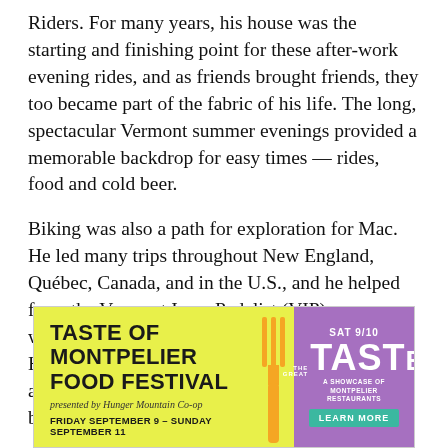Riders. For many years, his house was the starting and finishing point for these after-work evening rides, and as friends brought friends, they too became part of the fabric of his life. The long, spectacular Vermont summer evenings provided a memorable backdrop for easy times — rides, food and cold beer.
Biking was also a path for exploration for Mac. He led many trips throughout New England, Québec, Canada, and in the U.S., and he helped form the Vermont Iowa Pedalist (VIP) group, which participated in the Register's Annual Great Bicycle Ride Across Iowa (RAGBRAI), riding across Iowa on a dozen different Julys. Mac's biking trips introduced many nieces and
[Figure (infographic): Advertisement for Taste of Montpelier Food Festival, presented by Hunger Mountain Co-op, Friday September 9 – Sunday September 11. Right side shows 'SAT 9/10 THE GREAT TASTE – A Showcase of Montpelier Restaurants' with a Learn More button. Yellow-green and purple color scheme with fork graphic.]